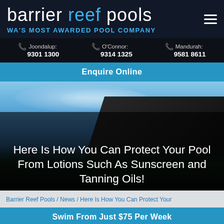barrier reef pools – WA'S MOST AWARDED POOL COMPANY
Joondalup: 9301 1300 | O'Connor: 9314 1325 | Mandurah: 9581 8611
Enquire Online
[Figure (photo): Aerial/architectural view of a modern building roofline against a blue sky with clouds, darkened with overlay]
Here Is How You Can Protect Your Pool From Lotions Such As Sunscreen and Tanning Oils!
Barrier Reef Pools / News / Here Is How You Can Protect Your
Swim From Just $75 Per Week